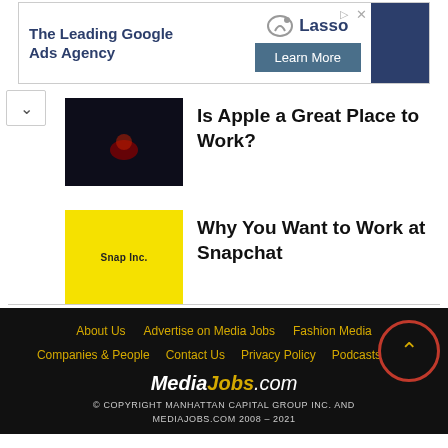[Figure (screenshot): Advertisement banner for Lasso Google Ads Agency with Learn More button]
Is Apple a Great Place to Work?
Why You Want to Work at Snapchat
About Us | Advertise on Media Jobs | Fashion Media | Companies & People | Contact Us | Privacy Policy | Podcasts | MediaJobs.com | © COPYRIGHT MANHATTAN CAPITAL GROUP INC. AND MEDIAJOBS.COM 2008 – 2021